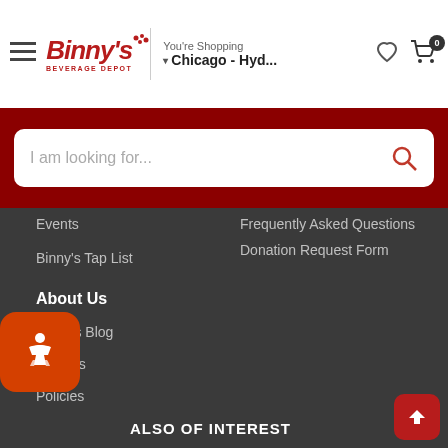Binny's Beverage Depot — You're Shopping Chicago - Hyd...
I am looking for...
Events
Binny's Tap List
Frequently Asked Questions
Donation Request Form
About Us
BInny's Blog
Careers
Policies
ALSO OF INTEREST
What's on Sale
binnys locations